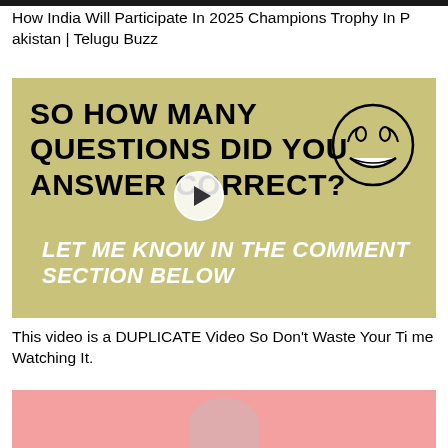How India Will Participate In 2025 Champions Trophy In Pakistan | Telugu Buzz
[Figure (screenshot): Video thumbnail with olive/khaki background showing bold text 'SO HOW MANY QUESTIONS DID YOU ANSWER CORRECT?' with a smiley face drawing, a play button circle in the center, and italic white bold text 'LET ME KNOW IN THE COMMENT SECTION BELOW' at the bottom]
This video is a DUPLICATE Video So Don't Waste Your Time Watching It.
[Figure (screenshot): Partial thumbnail showing pink background with the top of a person's head visible at the bottom]